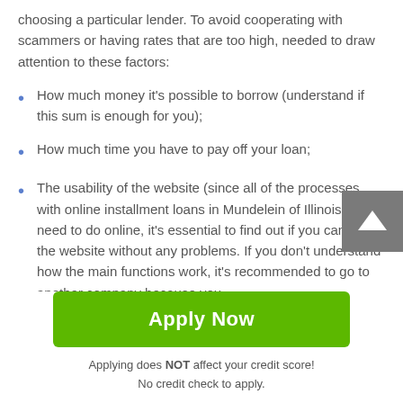choosing a particular lender. To avoid cooperating with scammers or having rates that are too high, needed to draw attention to these factors:
How much money it's possible to borrow (understand if this sum is enough for you);
How much time you have to pay off your loan;
The usability of the website (since all of the processes with online installment loans in Mundelein of Illinois you need to do online, it's essential to find out if you can use the website without any problems. If you don't understand how the main functions work, it's recommended to go to another company because you
Apply Now
Applying does NOT affect your credit score!
No credit check to apply.